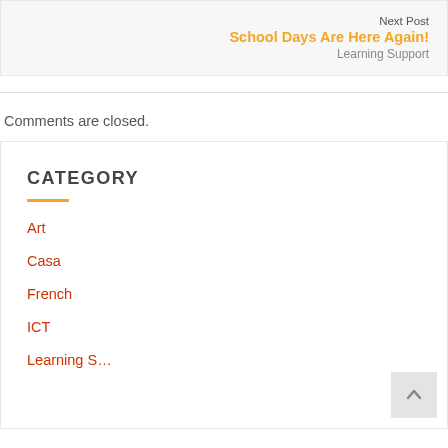Next Post
School Days Are Here Again!
Learning Support
Comments are closed.
CATEGORY
Art
Casa
French
ICT
Learning Support (partial)